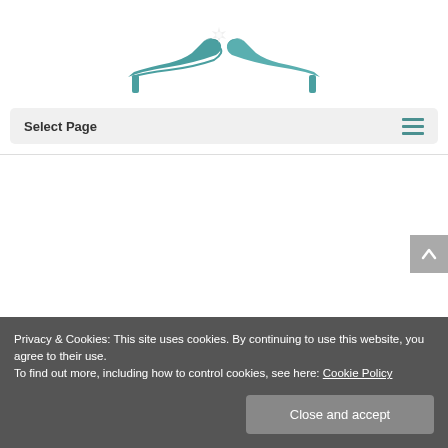[Figure (logo): Teal/turquoise high-heel shoes logo with decorative floral accent at toe]
Select Page
Privacy & Cookies: This site uses cookies. By continuing to use this website, you agree to their use.
To find out more, including how to control cookies, see here: Cookie Policy
Close and accept